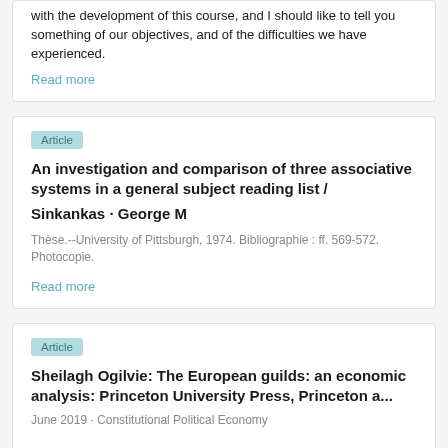with the development of this course, and I should like to tell you something of our objectives, and of the difficulties we have experienced.
Read more
Article
An investigation and comparison of three associative systems in a general subject reading list /
Sinkankas · George M
Thèse.--University of Pittsburgh, 1974. Bibliographie : ff. 569-572. Photocopie.
Read more
Article
Sheilagh Ogilvie: The European guilds: an economic analysis: Princeton University Press, Princeton a...
June 2019 · Constitutional Political Economy